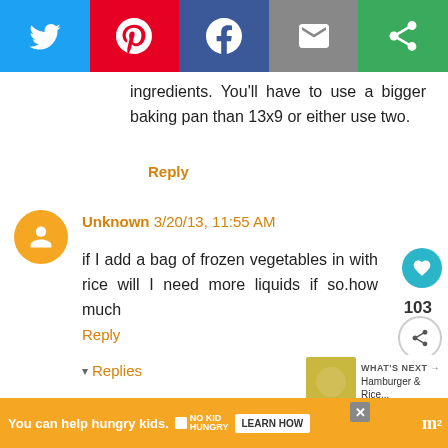[Figure (other): Social sharing bar with Twitter (blue), Pinterest (red), Facebook (blue), Email (gray), and another share button (green)]
ingredients. You'll have to use a bigger baking pan than 13x9 or either use two.
Reply
Unknown 3/20/13, 11:55 AM
if I add a bag of frozen vegetables in with rice will I need more liquids if so.how much
Reply
▾ Replies
WHAT'S NEXT → Hamburger & Rice...
Mandy Rivers    3/20/13, 1:18 PM
You can help hungry kids.  NO KID HUNGRY  LEARN HOW